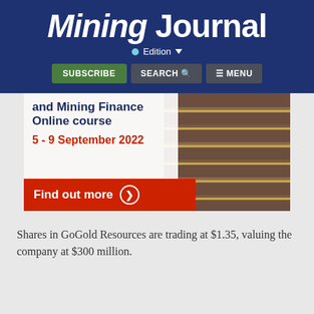[Figure (logo): Mining Journal logo with italic 'Mining' and regular 'Journal' in white on dark blue background]
[Figure (screenshot): Mining Journal website navigation bar showing Edition dropdown, Subscribe, Search, and Menu buttons on dark blue background]
[Figure (infographic): Advertisement banner for Mining Finance Online course, 5-9 September 2022, with Find out more button in red, overlaid on open-pit mine photo]
Shares in GoGold Resources are trading at $1.35, valuing the company at $300 million.